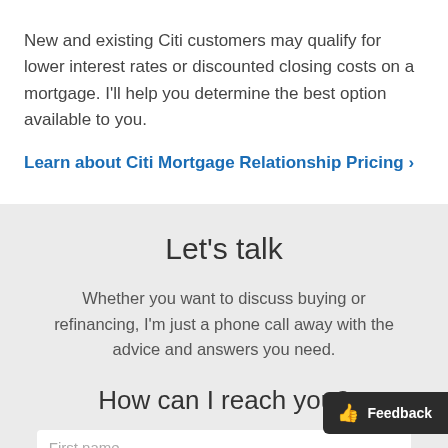New and existing Citi customers may qualify for lower interest rates or discounted closing costs on a mortgage. I'll help you determine the best option available to you.
Learn about Citi Mortgage Relationship Pricing >
Let's talk
Whether you want to discuss buying or refinancing, I'm just a phone call away with the advice and answers you need.
How can I reach you?
First name